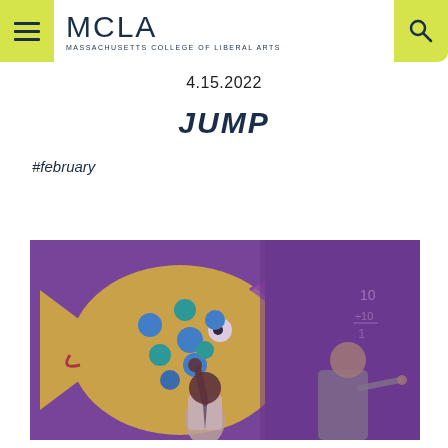MCLA – MASSACHUSETTS COLLEGE OF LIBERAL ARTS
4.15.2022
JUMP
#february
[Figure (photo): Two children in a purple-toned composite image: one Black child with arm raised next to a large yellow fish artwork, and one white child writing on a chalkboard.]